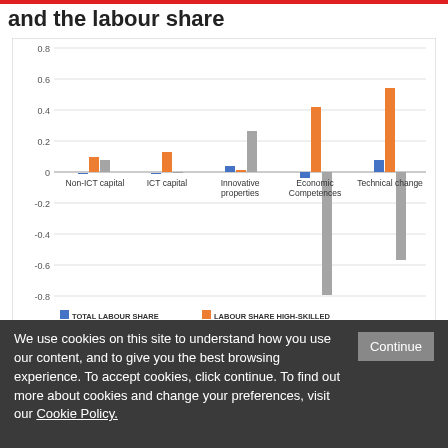and the labour share
[Figure (grouped-bar-chart): ]
Our work also addresses the question of
We use cookies on this site to understand how you use our content, and to give you the best browsing experience. To accept cookies, click continue. To find out more about cookies and change your preferences, visit our Cookie Policy.